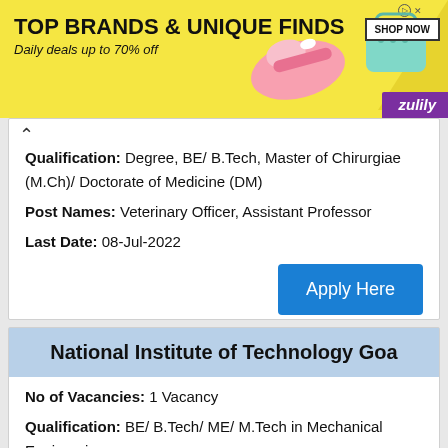[Figure (other): Advertisement banner for Zulily: TOP BRANDS & UNIQUE FINDS, Daily deals up to 70% off. Shows shoes and handbag images with SHOP NOW button and Zulily logo.]
Qualification: Degree, BE/ B.Tech, Master of Chirurgiae (M.Ch)/ Doctorate of Medicine (DM)
Post Names: Veterinary Officer, Assistant Professor
Last Date: 08-Jul-2022
Apply Here
National Institute of Technology Goa
No of Vacancies: 1 Vacancy
Qualification: BE/ B.Tech/ ME/ M.Tech in Mechanical Engineering
Post Names: Junior Research Fellow